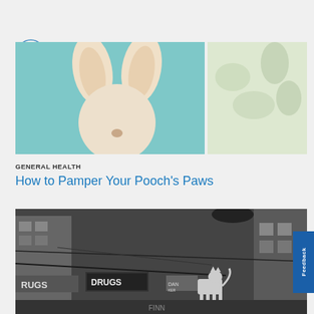[Figure (photo): Close-up photo of a white Chihuahua dog's ears peeking over a surface with a teal/green blurred background, split into two panels side by side]
GENERAL HEALTH
How to Pamper Your Pooch's Paws
[Figure (photo): Black and white street photograph showing a cat walking on a ledge or fire escape in an urban setting with 'DRUGS' store signs visible and city buildings in the background]